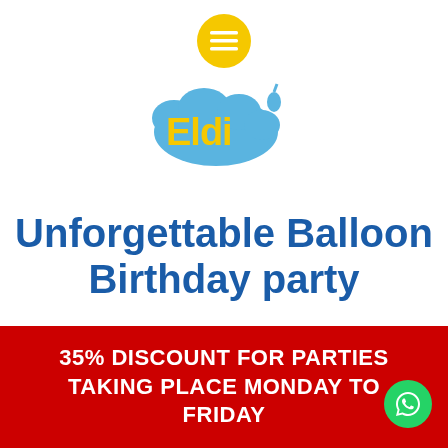[Figure (logo): Yellow circular menu/hamburger icon button]
[Figure (logo): Eldi logo: yellow text 'Eldi' on blue cloud/balloon shape]
Unforgettable Balloon Birthday party
35% DISCOUNT FOR PARTIES TAKING PLACE MONDAY TO FRIDAY